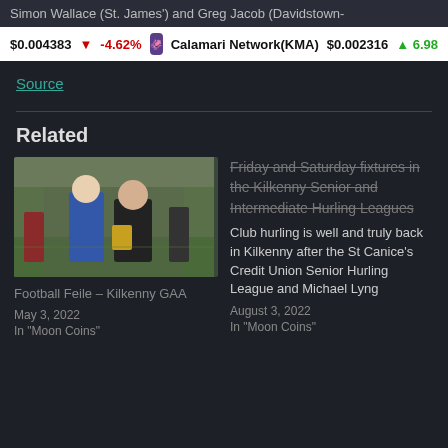Simon Wallace (St. James') and Greg Jacob (Davidstown-
$0.004383 ↓ -4.62%   Calamari Network(KMA)   $0.002316 ↑ 6.98
Source
Related
[Figure (photo): Two people standing on a GAA pitch, one in a blue jersey and one in a black jacket, holding an award plaque]
Football Feile – Kilkenny GAA
May 3, 2022
In "Moon Coins"
Friday and Saturday fixtures in the Kilkenny Senior and Intermediate Hurling Leagues
Club hurling is well and truly back in Kilkenny after the St Canice's Credit Union Senior Hurling League and Michael Lyng
August 3, 2022
In "Moon Coins"